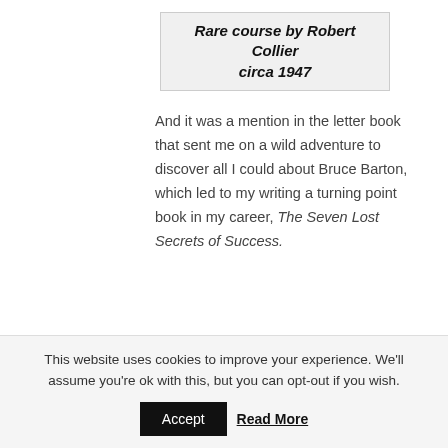Rare course by Robert Collier circa 1947
And it was a mention in the letter book that sent me on a wild adventure to discover all I could about Bruce Barton, which led to my writing a turning point book in my career, The Seven Lost Secrets of Success.
[Figure (photo): Partial photo of a book cover or document with a decorative border, partially visible text, dark background at top.]
This website uses cookies to improve your experience. We'll assume you're ok with this, but you can opt-out if you wish.